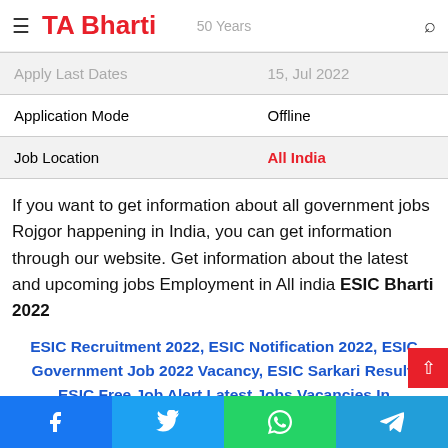TA Bharti | 50 Years
| Apply Last Dates | 15, Jul 2022 | Application Mode | Offline | Job Location | All India |
| --- | --- | --- | --- | --- | --- |
| Apply Last Dates | 15, Jul 2022 |
| Application Mode | Offline |
| Job Location | All India |
If you want to get information about all government jobs Rojgor happening in India, you can get information through our website. Get information about the latest and upcoming jobs Employment in All india ESIC Bharti 2022
ESIC Recruitment 2022, ESIC Notification 2022, ESIC Government Job 2022 Vacancy, ESIC Sarkari Result, ESIC Free Job Alert Latest Jobs Vacancies In
Facebook | Twitter | WhatsApp | Telegram